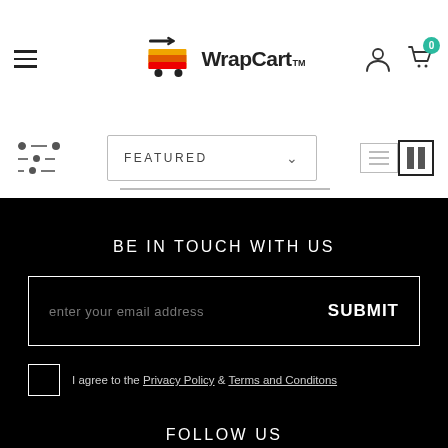WrapCart header with navigation, logo, cart icon
[Figure (logo): WrapCart logo with shopping cart icon and brand name]
FEATURED dropdown sort filter
BE IN TOUCH WITH US
enter your email address    SUBMIT
I agree to the Privacy Policy & Terms and Conditons
FOLLOW US